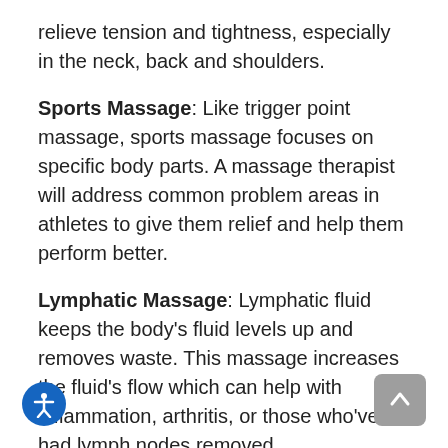relieve tension and tightness, especially in the neck, back and shoulders.
Sports Massage: Like trigger point massage, sports massage focuses on specific body parts. A massage therapist will address common problem areas in athletes to give them relief and help them perform better.
Lymphatic Massage: Lymphatic fluid keeps the body's fluid levels up and removes waste. This massage increases the fluid's flow which can help with inflammation, arthritis, or those who've had lymph nodes removed.
Prenatal Massage: Pregnancy is tough on the body. A prenatal massage reduces swelling and takes the pressure off the hips to create a